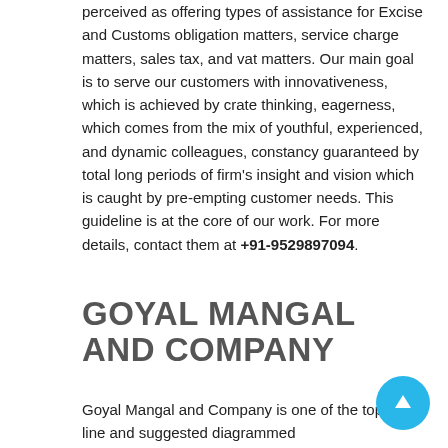perceived as offering types of assistance for Excise and Customs obligation matters, service charge matters, sales tax, and vat matters. Our main goal is to serve our customers with innovativeness, which is achieved by crate thinking, eagerness, which comes from the mix of youthful, experienced, and dynamic colleagues, constancy guaranteed by total long periods of firm's insight and vision which is caught by pre-empting customer needs. This guideline is at the core of our work. For more details, contact them at +91-9529897094.
GOYAL MANGAL AND COMPANY
Goyal Mangal and Company is one of the top of the line and suggested diagrammed